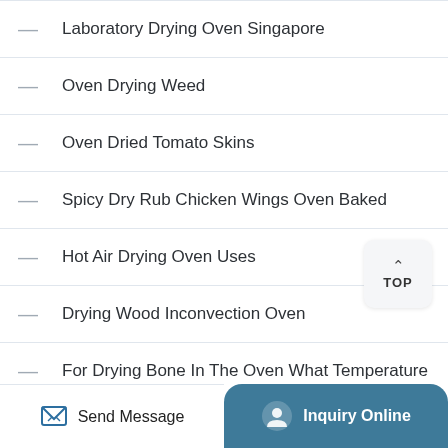Laboratory Drying Oven Singapore
Oven Drying Weed
Oven Dried Tomato Skins
Spicy Dry Rub Chicken Wings Oven Baked
Hot Air Drying Oven Uses
Drying Wood Inconvection Oven
For Drying Bone In The Oven What Temperature
Large Scale Powder Drying Vacuum Oven
Dry Rub Short Ribs Oven
Send Message | Inquiry Online